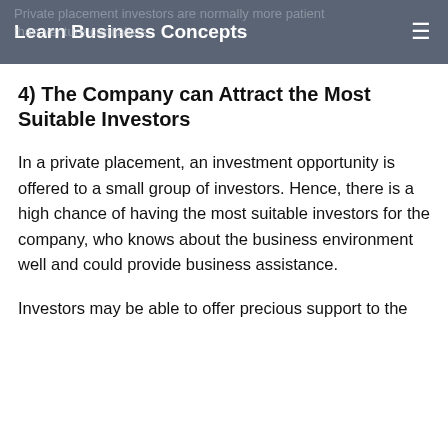Learn Business Concepts
4) The Company can Attract the Most Suitable Investors
In a private placement, an investment opportunity is offered to a small group of investors. Hence, there is a high chance of having the most suitable investors for the company, who knows about the business environment well and could provide business assistance.
Investors may be able to offer precious support to the